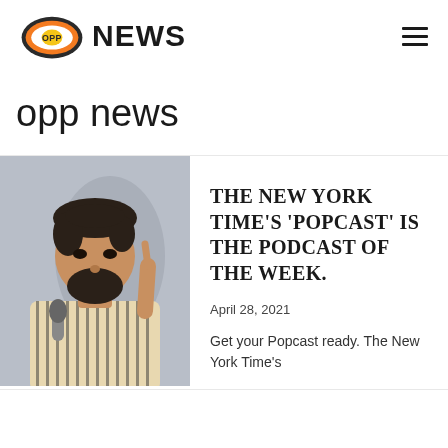OPP NEWS
opp news
[Figure (photo): Man with beard holding a microphone and pointing upward with one finger, wearing a striped shirt, standing in front of a gray wall]
THE NEW YORK TIME'S ‘POPCAST’ IS THE PODCAST OF THE WEEK.
April 28, 2021
Get your Popcast ready. The New York Time’s